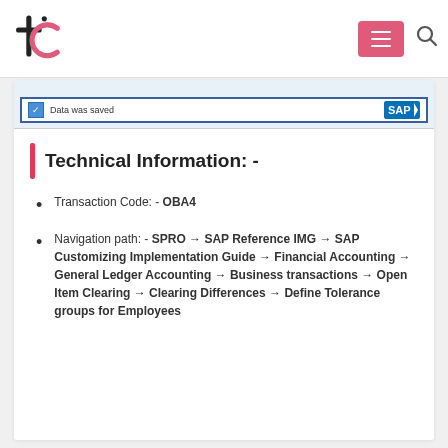[Figure (screenshot): Top navigation bar with logo (tc), pink menu button with three horizontal lines, and search icon]
[Figure (screenshot): SAP interface screenshot strip showing a light blue background area and a text field with blue border containing a checkbox and 'Data was saved' text, plus SAP logo on the right]
Technical Information: -
Transaction Code: - OBA4
Navigation path: - SPRO → SAP Reference IMG → SAP Customizing Implementation Guide → Financial Accounting → General Ledger Accounting → Business transactions → Open Item Clearing → Clearing Differences → Define Tolerance groups for Employees